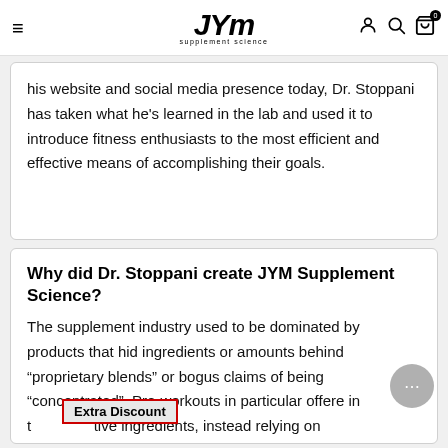JYM Supplement Science navigation bar with hamburger menu, JYM Supplement Science logo, user, search, and cart icons
his website and social media presence today, Dr. Stoppani has taken what he's learned in the lab and used it to introduce fitness enthusiasts to the most efficient and effective means of accomplishing their goals.
Why did Dr. Stoppani create JYM Supplement Science?
The supplement industry used to be dominated by products that hid ingredients or amounts behind “proprietary blends” or bogus claims of being “concentrated”. Pre-workouts in particular offered in t[Extra Discount]tive ingredients, instead relying on
Extra Discount